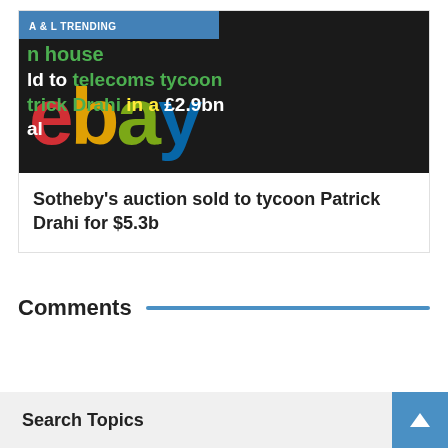[Figure (screenshot): Thumbnail image of an eBay logo with overlay text: 'A & L TRENDING n house ld to telecoms tycoon trick Drahi in a £2.9bn al']
Sotheby's auction sold to tycoon Patrick Drahi for $5.3b
Comments
Search Topics